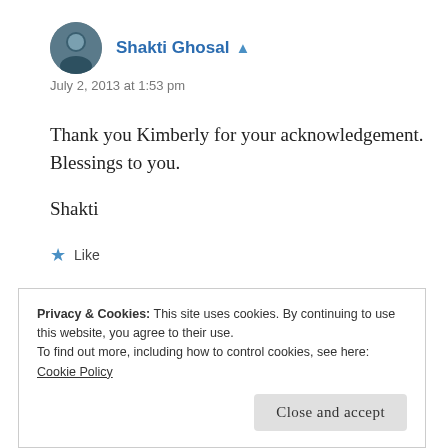Shakti Ghosal ▲
July 2, 2013 at 1:53 pm
Thank you Kimberly for your acknowledgement. Blessings to you.
Shakti
★ Like
Privacy & Cookies: This site uses cookies. By continuing to use this website, you agree to their use.
To find out more, including how to control cookies, see here:
Cookie Policy
Close and accept